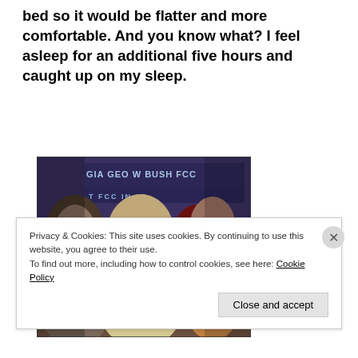bed so it would be flatter and more comfortable. And you know what? I feel asleep for an additional five hours and caught up on my sleep.
[Figure (illustration): Painting of blindfolded figures in a crowd, with text visible in the background reading 'GIA GEO W BUSH FCC'. The central figure wears a white blindfold and holds a hand to their chest.]
Privacy & Cookies: This site uses cookies. By continuing to use this website, you agree to their use.
To find out more, including how to control cookies, see here: Cookie Policy